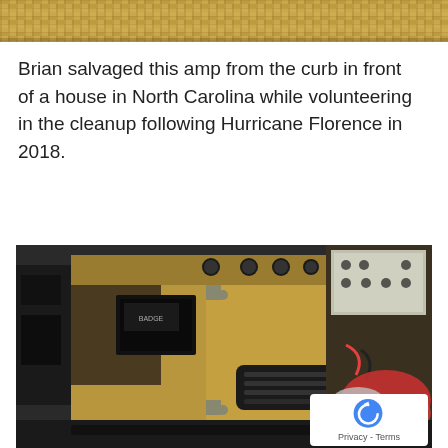[Figure (photo): Partial top view of a textured/woven surface, likely the top of a guitar amplifier with tweed covering, cropped at the top of the page.]
Brian salvaged this amp from the curb in front of a house in North Carolina while volunteering in the cleanup following Hurricane Florence in 2018.
[Figure (photo): Photograph of the back panel of a vintage guitar amplifier (appears to be a Fender tweed-style amp) placed on a workbench. The amp has a tan/gold tolex covering, visible knobs on top, a ventilation grille, and a black speaker panel. In the background are various electronic equipment and a red cloth.]